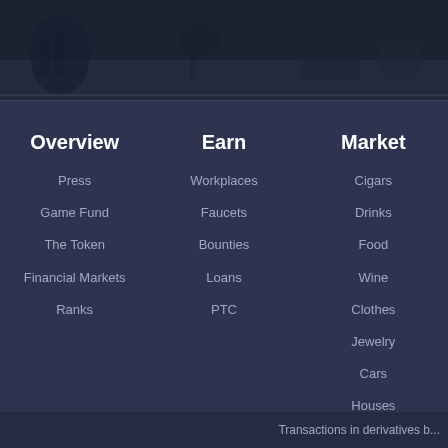[Figure (illustration): Dark blue banner image at top of page with silhouettes and cityscape]
Overview
Press
Game Fund
The Token
Financial Markets
Ranks
Earn
Workplaces
Faucets
Bounties
Loans
PTC
Market
Cigars
Drinks
Food
Wine
Clothes
Jewelry
Cars
Houses
Coupons
Tickets
Transactions in derivatives b...